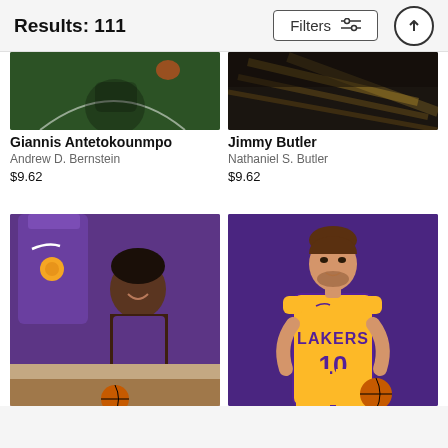Results: 111
Filters
[Figure (photo): Partial top view of Giannis Antetokounmpo basketball action photo on dark green court background]
Giannis Antetokounmpo
Andrew D. Bernstein
$9.62
[Figure (photo): Partial top view of Jimmy Butler basketball photo on dark hardwood court background]
Jimmy Butler
Nathaniel S. Butler
$9.62
[Figure (photo): Deandre Ayton smiling in Phoenix Suns jersey with purple Suns jersey hanging in background]
[Figure (photo): Lakers player number 10 posing in yellow Lakers jersey against purple background]